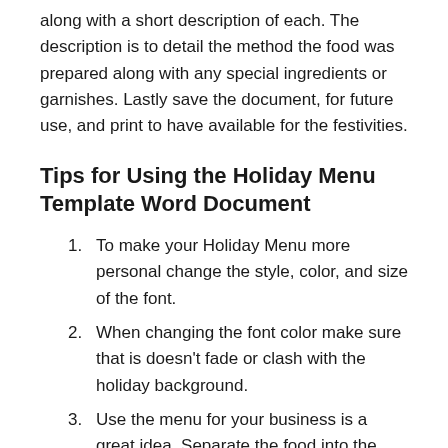along with a short description of each. The description is to detail the method the food was prepared along with any special ingredients or garnishes. Lastly save the document, for future use, and print to have available for the festivities.
Tips for Using the Holiday Menu Template Word Document
To make your Holiday Menu more personal change the style, color, and size of the font.
When changing the font color make sure that is doesn't fade or clash with the holiday background.
Use the menu for your business is a great idea. Separate the food into the appropriate meal options such as holiday themed appetizers, entrees, and desserts. Also make sure to include the prices and any specials or discounts. Include your logo, business name, address, phone number, email and possibly any